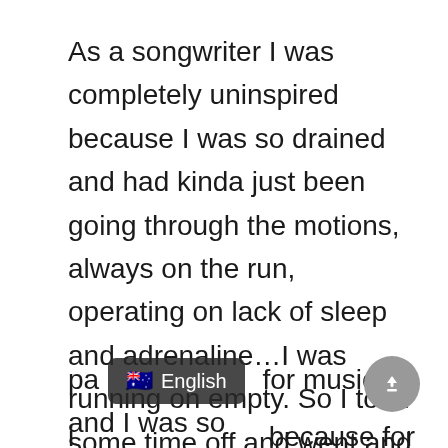As a songwriter I was completely uninspired because I was so drained and had kinda just been going through the motions, always on the run, operating on lack of sleep and adrenaline…I was running on empty. So I took some time off and went and focused on something different. Went and did TV & radio for a couple of years which was really fun and I found that after a while I regained that pa[ssion] for music and I was so i[nspired]…[be]cause for the first tim[e